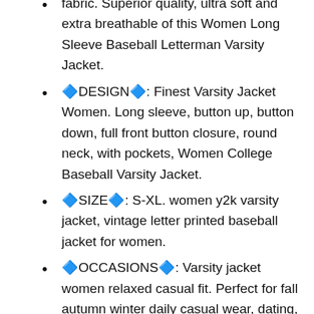fabric. Superior quality, ultra soft and extra breathable of this Women Long Sleeve Baseball Letterman Varsity Jacket.
🔷DESIGN🔷: Finest Varsity Jacket Women. Long sleeve, button up, button down, full front button closure, round neck, with pockets, Women College Baseball Varsity Jacket.
🔷SIZE🔷: S-XL. women y2k varsity jacket, vintage letter printed baseball jacket for women.
🔷OCCASIONS🔷: Varsity jacket women relaxed casual fit. Perfect for fall autumn winter daily casual wear, dating, shopping, party and so on, great women varsity jacket with